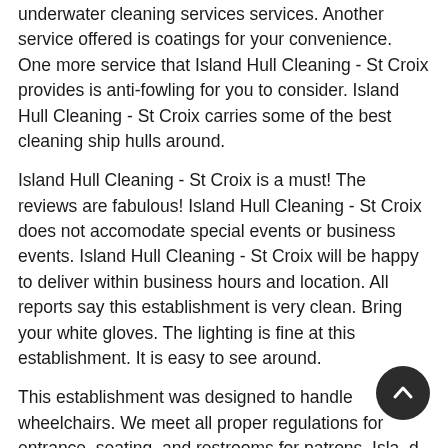underwater cleaning services services. Another service offered is coatings for your convenience. One more service that Island Hull Cleaning - St Croix provides is anti-fowling for you to consider. Island Hull Cleaning - St Croix carries some of the best cleaning ship hulls around.
Island Hull Cleaning - St Croix is a must! The reviews are fabulous! Island Hull Cleaning - St Croix does not accomodate special events or business events. Island Hull Cleaning - St Croix will be happy to deliver within business hours and location. All reports say this establishment is very clean. Bring your white gloves. The lighting is fine at this establishment. It is easy to see around.
This establishment was designed to handle wheelchairs. We meet all proper regulations for entrance, seating, and restrooms for patrons. Island Hull Cleaning - St Croix is reasonably priced to accommodate all your needs. They fit your budget. A